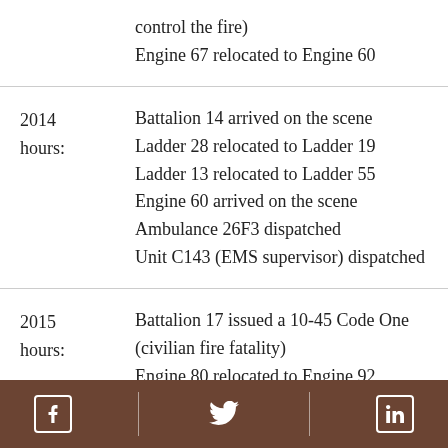control the fire)
Engine 67 relocated to Engine 60
2014 hours: Battalion 14 arrived on the scene; Ladder 28 relocated to Ladder 19; Ladder 13 relocated to Ladder 55; Engine 60 arrived on the scene; Ambulance 26F3 dispatched; Unit C143 (EMS supervisor) dispatched
2015 hours: Battalion 17 issued a 10-45 Code One (civilian fire fatality); Engine 80 relocated to Engine 92; Engine 79 relocated to Engine 46; Battalion 16 relocated to Battalion 17; Ambulance 26C3 dispatched
[Facebook] [Twitter] [LinkedIn]